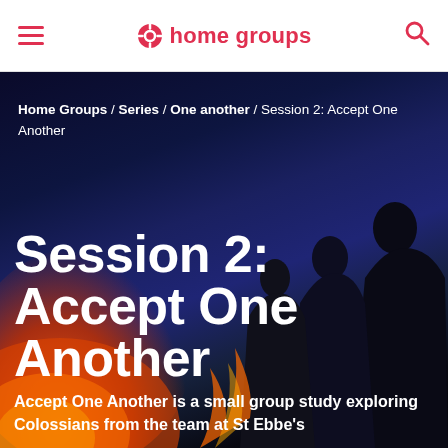home groups
Home Groups / Series / One another / Session 2: Accept One Another
Session 2: Accept One Another
Accept One Another is a small group study exploring Colossians from the team at St Ebbe's